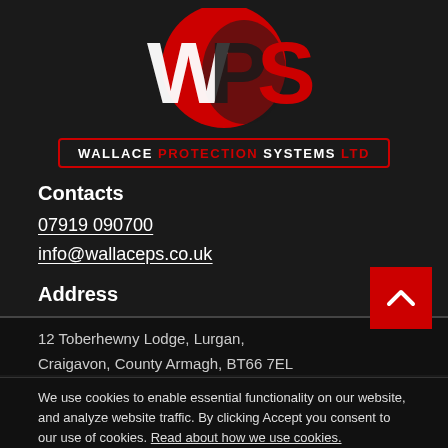[Figure (logo): Wallace Protection Systems Ltd logo — circular red emblem with stylized WPS letters in white and dark colors, with company name below in white uppercase text on dark background with red border]
Contacts
07919 090700
info@wallaceps.co.uk
Address
12 Toberhewny Lodge, Lurgan,
Craigavon, County Armagh, BT66 7EL
We use cookies to enable essential functionality on our website, and analyze website traffic. By clicking Accept you consent to our use of cookies. Read about how we use cookies.
Working Hours
Monday, 8:00 a.m. – 5:00 p.m.